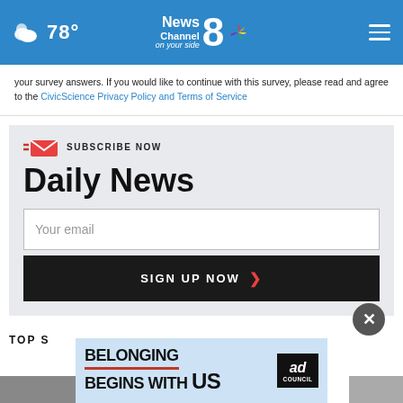78° News Channel 8 on your side
your survey answers. If you would like to continue with this survey, please read and agree to the CivicScience Privacy Policy and Terms of Service
SUBSCRIBE NOW
Daily News
Your email
SIGN UP NOW
TOP S...
[Figure (screenshot): Ad banner: BELONGING BEGINS WITH US, Ad Council logo]